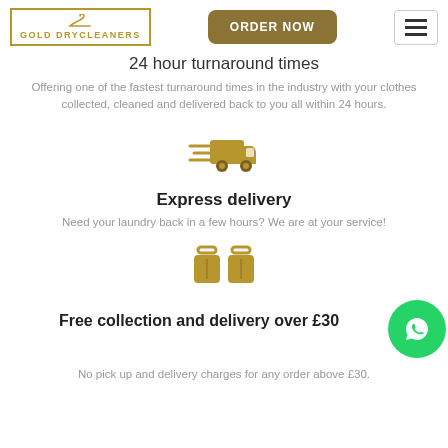GOLD DRYCLEANERS | ORDER NOW
24 hour turnaround times
Offering one of the fastest turnaround times in the industry with your clothes collected, cleaned and delivered back to you all within 24 hours.
[Figure (illustration): Gold delivery truck icon with speed lines]
Express delivery
Need your laundry back in a few hours? We are at your service!
[Figure (illustration): Gold luggage/bag icon]
Free collection and delivery over £30
No pick up and delivery charges for any order above £30.